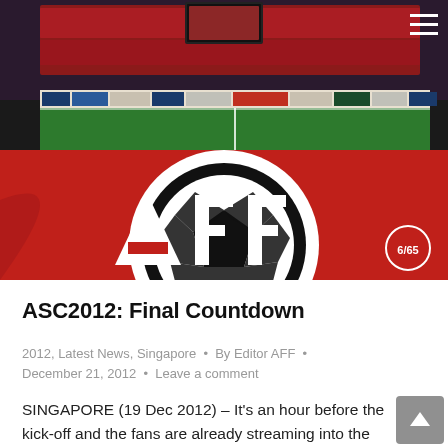[Figure (photo): AFF Suzuki Cup football stadium photo showing a soccer field with red AFF logo on the pitch featuring a large soccer ball graphic and the letters 'AFF', taken from ground level. Packed stadium stands visible in background with advertising hoardings including Suzuki SX4, Toshiba, Epson brands.]
ASC2012: Final Countdown
2012, Latest News, Singapore • By Editor AFF • December 21, 2012 • Leave a comment
SINGAPORE (19 Dec 2012) – It's an hour before the kick-off and the fans are already streaming into the